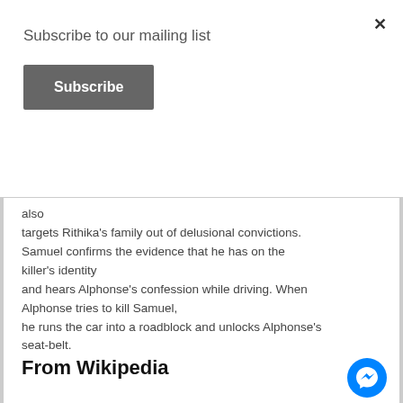Subscribe to our mailing list
Subscribe
also targets Rithika's family out of delusional convictions. Samuel confirms the evidence that he has on the killer's identity and hears Alphonse's confession while driving. When Alphonse tries to kill Samuel, he runs the car into a roadblock and unlocks Alphonse's seat-belt. The car flips and Alphonse is ejected from the seat, his head hits the road and he dies...
From Wikipedia
Directed by Akhil Paul & Anas Khan